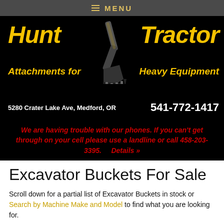≡ MENU
[Figure (logo): Hunt Tractor logo with excavator bucket image, text: Hunt Tractor Attachments for Heavy Equipment, 5280 Crater Lake Ave, Medford, OR, 541-772-1417]
We are having trouble with our phones. If you can't get through on your cell please use a landline or call 458-203-3395.   Details »
Excavator Buckets For Sale
Scroll down for a partial list of Excavator Buckets in stock or Search by Machine Make and Model to find what you are looking for.
| Excavator Buckets For Sale |
| --- |